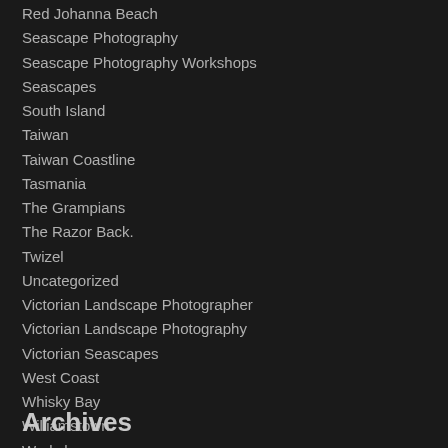Red Johanna Beach
Seascape Photography
Seascape Photography Workshops
Seascapes
South Island
Taiwan
Taiwan Coastline
Tasmania
The Grampians
The Razor Back.
Twizel
Uncategorized
Victorian Landscape Photographer
Victorian Landscape Photography
Victorian Seascapes
West Coast
Whisky Bay
Williamstown
Workshops
Xing Ping
Yangshuo.
Archives